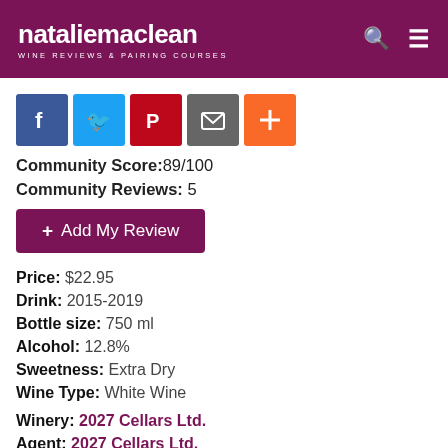nataliemaclean WINE REVIEWS & PAIRING COURSES
[Figure (other): Social sharing buttons: Facebook, Twitter, Pinterest, Email, Add (plus)]
Community Score:89/100
Community Reviews: 5
+ Add My Review
Price: $22.95
Drink: 2015-2019
Bottle size: 750 ml
Alcohol: 12.8%
Sweetness: Extra Dry
Wine Type: White Wine
Winery: 2027 Cellars Ltd.
Agent: 2027 Cellars Ltd.